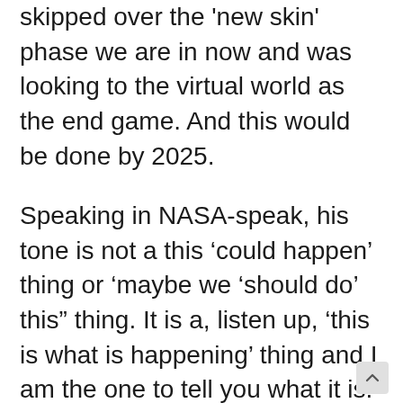skipped over the 'new skin' phase we are in now and was looking to the virtual world as the end game. And this would be done by 2025.
Speaking in NASA-speak, his tone is not a this ‘could happen’ thing or ‘maybe we ‘should do’ this” thing. It is a, listen up, ‘this is what is happening’ thing and I am the one to tell you what it is.  As he is speaking to military contractors, he is actually giving them orders by enticing them with visions of new trillion dollar opportunities ahead. All we have to do is sacrifice our humanity on the altar of AI and we can become ‘sustainable’.